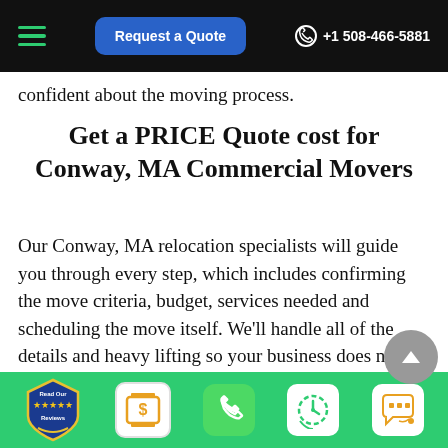Request a Quote  +1 508-466-5881
confident about the moving process.
Get a PRICE Quote cost for Conway, MA Commercial Movers
Our Conway, MA relocation specialists will guide you through every step, which includes confirming the move criteria, budget, services needed and scheduling the move itself. We'll handle all of the details and heavy lifting so your business does not miss a step.
Best Commercial Movers in Conway,
[Figure (infographic): Green bottom bar with icons: Read Our Reviews badge, dollar sign quote icon, phone call icon, scheduling clock icon, chat/SMS icon]